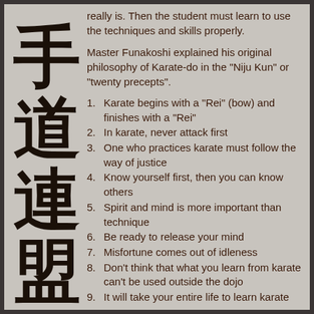[Figure (illustration): Vertical Japanese kanji characters for Karate-do federation/alliance, written in black brush strokes on light grey background]
really is. Then the student must learn to use the techniques and skills properly.
Master Funakoshi explained his original philosophy of Karate-do in the "Niju Kun" or "twenty precepts".
Karate begins with a "Rei" (bow) and finishes with a "Rei"
In karate, never attack first
One who practices karate must follow the way of justice
Know yourself first, then you can know others
Spirit and mind is more important than technique
Be ready to release your mind
Misfortune comes out of idleness
Don't think that what you learn from karate can't be used outside the dojo
It will take your entire life to learn karate